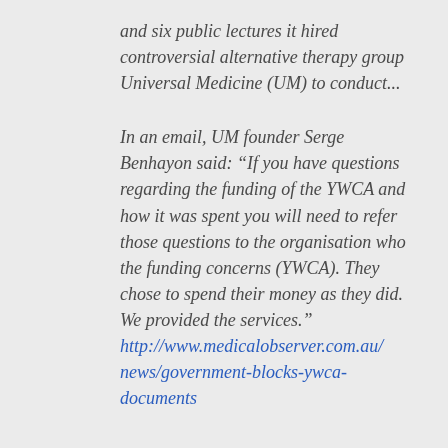and six public lectures it hired controversial alternative therapy group Universal Medicine (UM) to conduct...
In an email, UM founder Serge Benhayon said: “If you have questions regarding the funding of the YWCA and how it was spent you will need to refer those questions to the organisation who the funding concerns (YWCA). They chose to spend their money as they did. We provided the services.” http://www.medicalobserver.com.au/news/government-blocks-ywca-documents